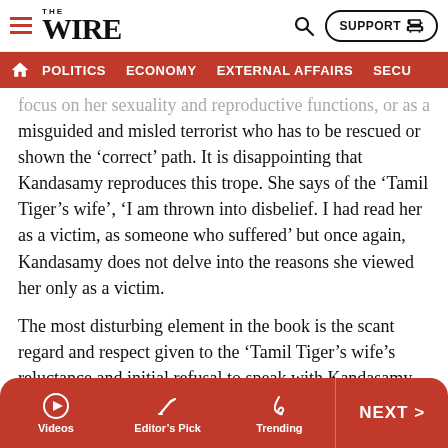THE WIRE — POLITICS | ECONOMY | EXTERNAL AFFAIRS | SECU...
focus on her sexuality and reproductive functions, or as a misguided and misled terrorist who has to be rescued or shown the 'correct' path. It is disappointing that Kandasamy reproduces this trope. She says of the 'Tamil Tiger's wife', 'I am thrown into disbelief. I had read her as a victim, as someone who suffered' but once again, Kandasamy does not delve into the reasons she viewed her only as a victim.
The most disturbing element in the book is the scant regard and respect given to the 'Tamil Tiger's wife's reluctance and initial refusal to speak with Kandasamy. Kandasamy says the 'Tamil Tiger's wife'
'is initially reluctant to share her story, for fear of being
Videos | Editor's Pick | Trending | NEXT >